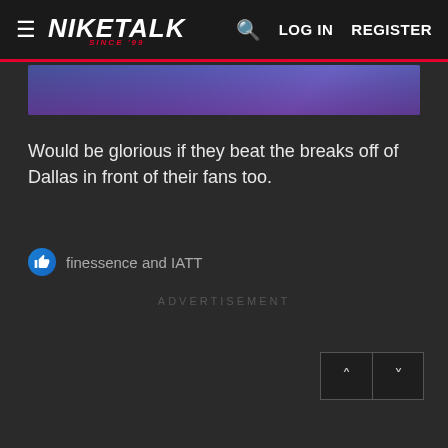NIKETALK SINCE 99 | LOG IN | REGISTER
[Figure (photo): Partial image strip showing purple/blue tones, cropped at top]
Would be glorious if they beat the breaks off of Dallas in front of their fans too.
finessence and IATT
ADVERTISEMENT